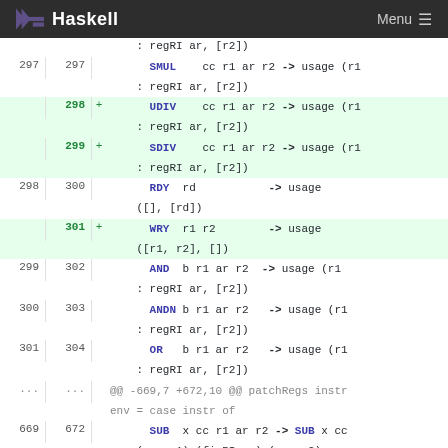Haskell Menu
: regRI ar, [r2])
297  297      SMUL    cc r1 ar r2 -> usage (r1 : regRI ar, [r2])
298  +  UDIV    cc r1 ar r2 -> usage (r1 : regRI ar, [r2])
299  +  SDIV    cc r1 ar r2 -> usage (r1 : regRI ar, [r2])
298  300    RDY  rd           -> usage ([], [rd])
301  +  WRY  r1 r2          -> usage ([r1, r2], [])
299  302    AND  b r1 ar r2   -> usage (r1 : regRI ar, [r2])
300  303    ANDN b r1 ar r2   -> usage (r1 : regRI ar, [r2])
301  304    OR   b r1 ar r2   -> usage (r1 : regRI ar, [r2])
@@ -669,7 +672,10 @@ patchRegs instr env = case instr of
669  672    SUB  x cc r1 ar r2 -> SUB x cc (env r1) (fixRI ar) (env r2)